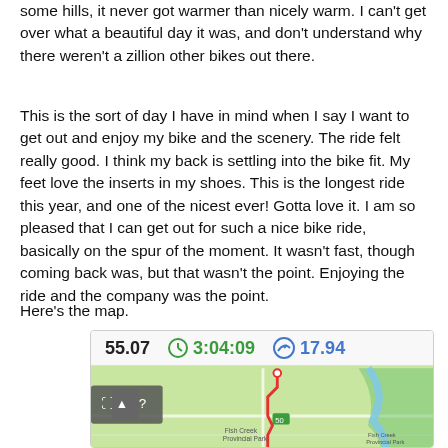some hills, it never got warmer than nicely warm. I can't get over what a beautiful day it was, and don't understand why there weren't a zillion other bikes out there.
This is the sort of day I have in mind when I say I want to get out and enjoy my bike and the scenery. The ride felt really good. I think my back is settling into the bike fit. My feet love the inserts in my shoes. This is the longest ride this year, and one of the nicest ever! Gotta love it. I am so pleased that I can get out for such a nice bike ride, basically on the spur of the moment. It wasn't fast, though coming back was, but that wasn't the point. Enjoying the ride and the company was the point.
Here's the map.
[Figure (screenshot): Screenshot of a cycling app showing stats: 55.07 distance, 3:04:09 time, 17.94 speed, with a map of a bike route through Fish Creek Provincial Park area.]